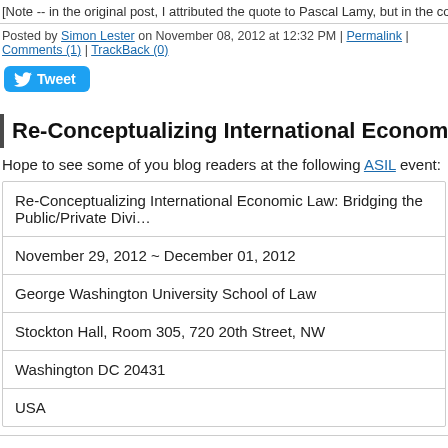[Note -- in the original post, I attributed the quote to Pascal Lamy, but in the comment...
Posted by Simon Lester on November 08, 2012 at 12:32 PM | Permalink | Comments (1) | TrackBack (0)
Tweet
Re-Conceptualizing International Economic Law: Bridging...
Hope to see some of you blog readers at the following ASIL event:
| Re-Conceptualizing International Economic Law: Bridging the Public/Private Divi... |
| November 29, 2012 ~ December 01, 2012 |
| George Washington University School of Law |
| Stockton Hall, Room 305, 720 20th Street, NW |
| Washington DC 20431 |
| USA |
The ASIL International Economic Law Interest Group in co-sponsorship in partnership... University School of Law and the Federal Trade Commission will hold its next bien...